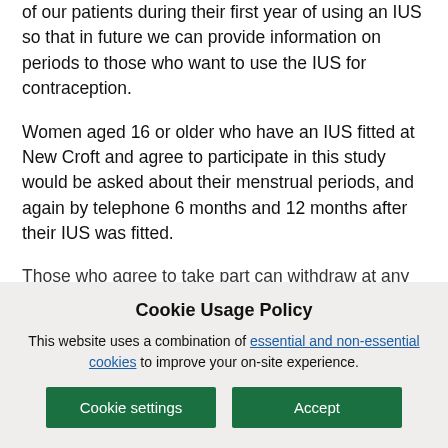of our patients during their first year of using an IUS so that in future we can provide information on periods to those who want to use the IUS for contraception.
Women aged 16 or older who have an IUS fitted at New Croft and agree to participate in this study would be asked about their menstrual periods, and again by telephone 6 months and 12 months after their IUS was fitted.
Those who agree to take part can withdraw at any
Cookie Usage Policy
This website uses a combination of essential and non-essential cookies to improve your on-site experience.